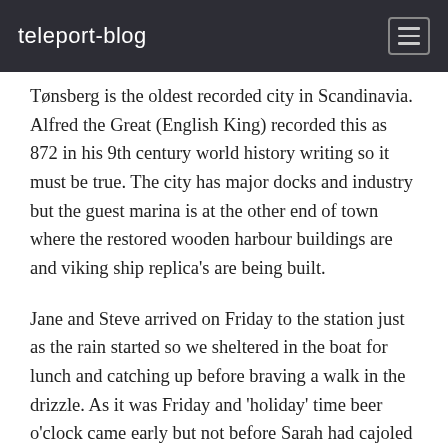teleport-blog
Tønsberg is the oldest recorded city in Scandinavia. Alfred the Great (English King) recorded this as 872 in his 9th century world history writing so it must be true. The city has major docks and industry but the guest marina is at the other end of town where the restored wooden harbour buildings are and viking ship replica's are being built.
Jane and Steve arrived on Friday to the station just as the rain started so we sheltered in the boat for lunch and catching up before braving a walk in the drizzle. As it was Friday and 'holiday' time beer o'clock came early but not before Sarah had cajoled the group around town and up the hill to the site of the medieval fortress above the marina. Like true Brits we sat in a waterside